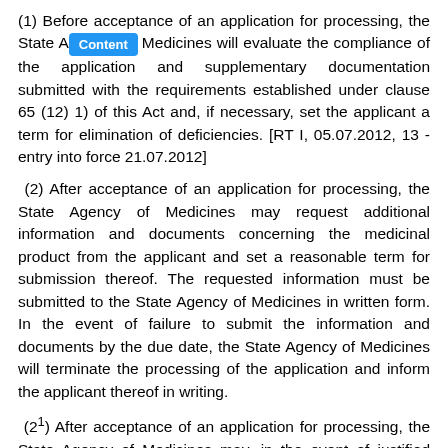(1) Before acceptance of an application for processing, the State Agency of Medicines will evaluate the compliance of the application and supplementary documentation submitted with the requirements established under clause 65 (12) 1) of this Act and, if necessary, set the applicant a term for elimination of deficiencies. [RT I, 05.07.2012, 13 - entry into force 21.07.2012]
(2) After acceptance of an application for processing, the State Agency of Medicines may request additional information and documents concerning the medicinal product from the applicant and set a reasonable term for submission thereof. The requested information must be submitted to the State Agency of Medicines in written form. In the event of failure to submit the information and documents by the due date, the State Agency of Medicines will terminate the processing of the application and inform the applicant thereof in writing.
(2^1) After acceptance of an application for processing, the State Agency of Medicines may, in the event of justified need, inspect at the expense of the applicant the sites located outside of the European Union required for the attestation of the compliance of clinical trials and the manufacturing facilities of the medicinal product and active substance.